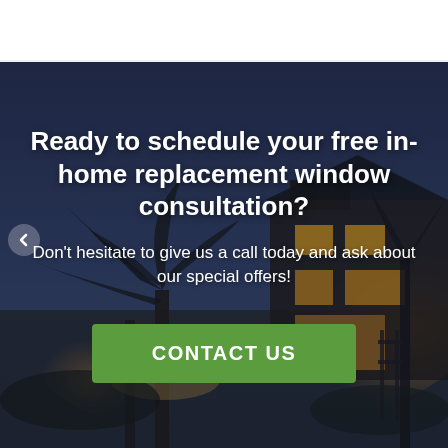[Figure (photo): Nighttime exterior photo of an illuminated residential home with trees lit from below, against a dusk blue sky. Used as a background hero image.]
Ready to schedule your free in-home replacement window consultation?
Don't hesitate to give us a call today and ask about our special offers!
CONTACT US